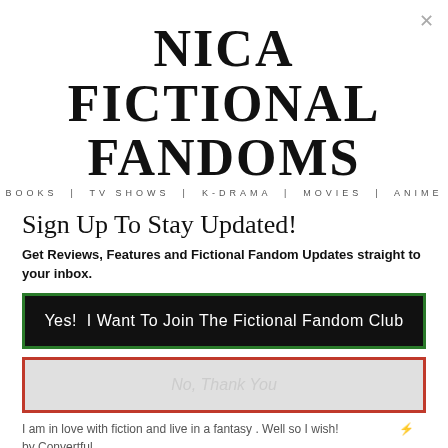[Figure (logo): Nica Fictional Fandoms logo with tagline: BOOKS | TV SHOWS | K-DRAMA | MOVIES | ANIME]
Sign Up To Stay Updated!
Get Reviews, Features and Fictional Fandom Updates straight to your inbox.
Yes!  I Want To Join The Fictional Fandom Club
No, Thank You
I am in love with fiction and live in a fantasy . Well so I wish!
⚡ by Convertful
Don't get me wrong though I am constantly making an effort to watch documentaries and read non fiction.